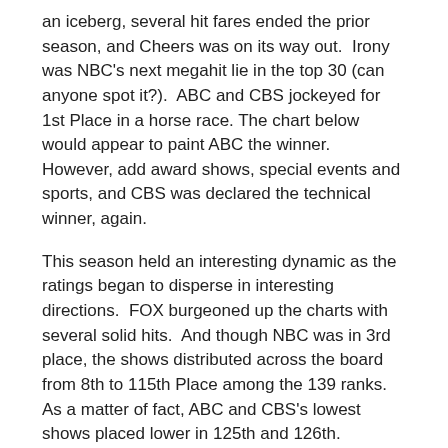an iceberg, several hit fares ended the prior season, and Cheers was on its way out.  Irony was NBC's next megahit lie in the top 30 (can anyone spot it?).  ABC and CBS jockeyed for 1st Place in a horse race. The chart below would appear to paint ABC the winner.  However, add award shows, special events and sports, and CBS was declared the technical winner, again.
This season held an interesting dynamic as the ratings began to disperse in interesting directions.  FOX burgeoned up the charts with several solid hits.  And though NBC was in 3rd place, the shows distributed across the board from 8th to 115th Place among the 139 ranks.  As a matter of fact, ABC and CBS's lowest shows placed lower in 125th and 126th.
To check out other years' ratings, visit the Ratings History Library.